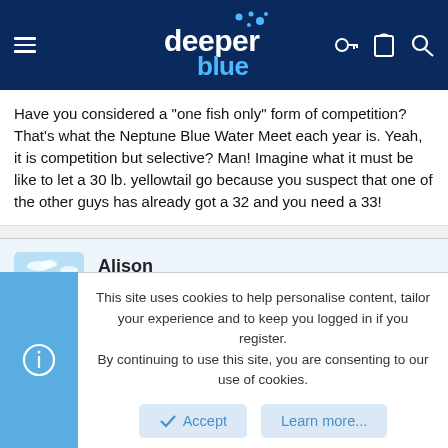deeper blue
Have you considered a "one fish only" form of competition? That's what the Neptune Blue Water Meet each year is. Yeah, it is competition but selective? Man! Imagine what it must be like to let a 30 lb. yellowtail go because you suspect that one of the other guys has already got a 32 and you need a 33!
[Figure (photo): User avatar for Alison showing a beach/ocean scene]
Alison
Offline
Jul 29, 2004
#13
This site uses cookies to help personalise content, tailor your experience and to keep you logged in if you register.
By continuing to use this site, you are consenting to our use of cookies.